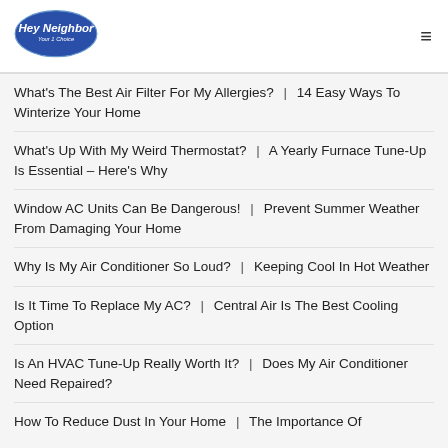Hey Neighbor Your 1 Choice [logo] [hamburger menu]
What's The Best Air Filter For My Allergies?  |  14 Easy Ways To Winterize Your Home
What's Up With My Weird Thermostat?  |  A Yearly Furnace Tune-Up Is Essential – Here's Why
Window AC Units Can Be Dangerous!  |  Prevent Summer Weather From Damaging Your Home
Why Is My Air Conditioner So Loud?  |  Keeping Cool In Hot Weather
Is It Time To Replace My AC?  |  Central Air Is The Best Cooling Option
Is An HVAC Tune-Up Really Worth It?  |  Does My Air Conditioner Need Repaired?
How To Reduce Dust In Your Home  |  The Importance Of